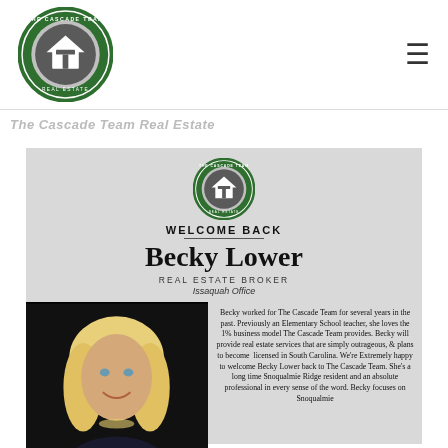[Figure (logo): The Cascade Team Real Estate circular logo - green and silver/grey with house icon]
The Cascade Team Real Estate
[Figure (infographic): Welcome back card for Becky Lower, Real Estate Broker, Issaquah Office. Includes The Cascade Team logo, agent photo, and bio text.]
Becky worked for The Cascade Team for several years in the past. Previously an Elementary School teacher, she loves the 1% business model The Cascade Team provides. Becky will provide real estate services that are simply outrageous, & plans to become licensed in South Carolina. We're Extremely happy to welcome Becky Lower back to The Cascade Team. She's a long time Snoqualmie Ridge resident and an absolute professional in every sense of the word. Becky focuses on Snoqualmie